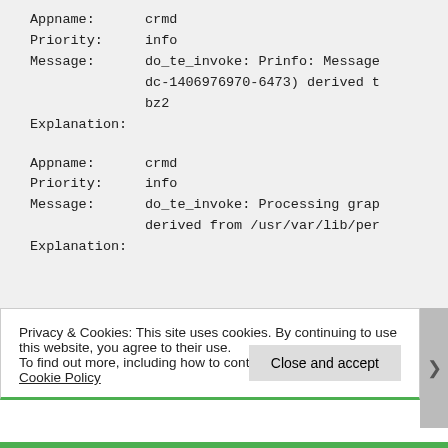Appname: crmd
Priority: info
Message: do_te_invoke: Prinfo: Message dc-1406976970-6473) derived t bz2
Explanation:

Appname: crmd
Priority: info
Message: do_te_invoke: Processing grap derived from /usr/var/lib/per
Explanation:
Privacy & Cookies: This site uses cookies. By continuing to use this website, you agree to their use. To find out more, including how to control cookies, see here: Cookie Policy